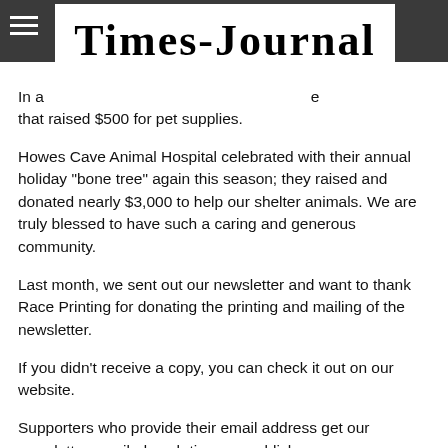Times-Journal
In a [partially obscured] that raised $500 for pet supplies.
Howes Cave Animal Hospital celebrated with their annual holiday "bone tree" again this season; they raised and donated nearly $3,000 to help our shelter animals. We are truly blessed to have such a caring and generous community.
Last month, we sent out our newsletter and want to thank Race Printing for donating the printing and mailing of the newsletter.
If you didn't receive a copy, you can check it out on our website.
Supporters who provide their email address get our newsletter emailed each time we publish one.
Upcoming events
Last year we held Bling for Paws, a jewelry sale, in March and our annual auction fundraiser in April.